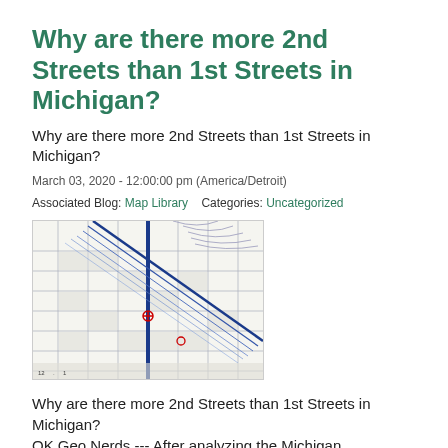Why are there more 2nd Streets than 1st Streets in Michigan?
Why are there more 2nd Streets than 1st Streets in Michigan?
March 03, 2020 - 12:00:00 pm (America/Detroit)
Associated Blog: Map Library   Categories: Uncategorized
[Figure (map): A street map excerpt showing a grid of city streets with blue diagonal lines and red markers, resembling a Michigan road network detail.]
Why are there more 2nd Streets than 1st Streets in Michigan?
OK Geo Nerds --- After analyzing the Michigan Department of Transportation's computer files of the entire road network of Michigan, we compiled a list of the most common road names.  They go: